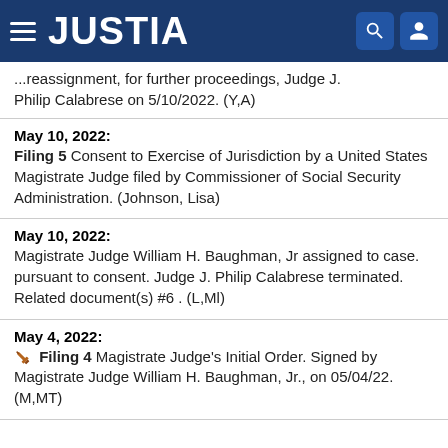JUSTIA
...reassignment, for further proceedings, Judge J. Philip Calabrese on 5/10/2022. (Y,A)
May 10, 2022:
Filing 5  Consent to Exercise of Jurisdiction by a United States Magistrate Judge filed by Commissioner of Social Security Administration. (Johnson, Lisa)
May 10, 2022:
Magistrate Judge William H. Baughman, Jr assigned to case. pursuant to consent. Judge J. Philip Calabrese terminated. Related document(s) #6 . (L,Ml)
May 4, 2022:
Filing 4  Magistrate Judge's Initial Order. Signed by Magistrate Judge William H. Baughman, Jr., on 05/04/22. (M,MT)